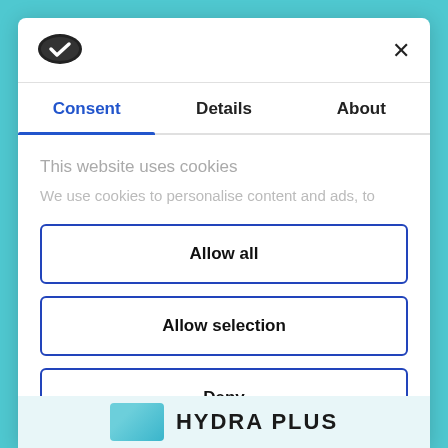[Figure (logo): Cookie/Cookiebot logo: dark oval with checkmark]
×
Consent	Details	About
This website uses cookies
We use cookies to personalise content and ads, to
Allow all
Allow selection
Deny
Powered by Cookiebot by Usercentrics
HYDRA PLUS